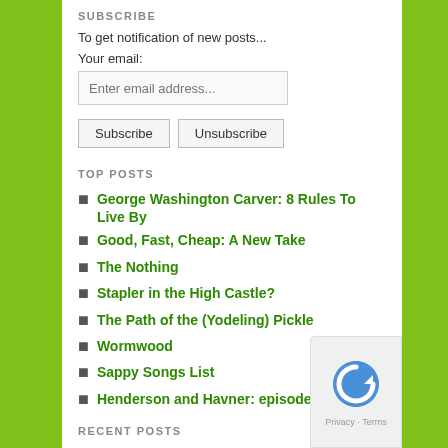SUBSCRIBE
To get notification of new posts...
Your email:
Enter email address...
Subscribe   Unsubscribe
TOP POSTS
George Washington Carver: 8 Rules To Live By
Good, Fast, Cheap: A New Take
The Nothing
Stapler in the High Castle?
The Path of the (Yodeling) Pickle
Wormwood
Sappy Songs List
Henderson and Havner: episode 17!
RECENT POSTS
Sushi-Oh's! Cereal (parody)
59 Banana Back Pain